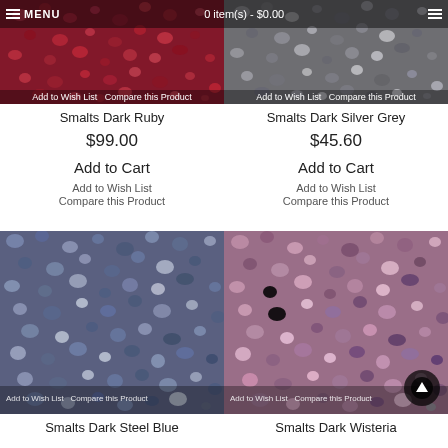[Figure (photo): Close-up photo of dark ruby red mosaic smalts/glass pieces]
Smalts Dark Ruby
$99.00
Add to Cart
Add to Wish List
Compare this Product
[Figure (photo): Close-up photo of dark silver grey mosaic smalts/glass pieces]
Smalts Dark Silver Grey
$45.60
Add to Cart
Add to Wish List
Compare this Product
[Figure (photo): Close-up photo of dark steel blue mosaic smalts/glass pieces]
Smalts Dark Steel Blue
[Figure (photo): Close-up photo of dark wisteria (purple/pink) mosaic smalts/glass pieces]
Smalts Dark Wisteria